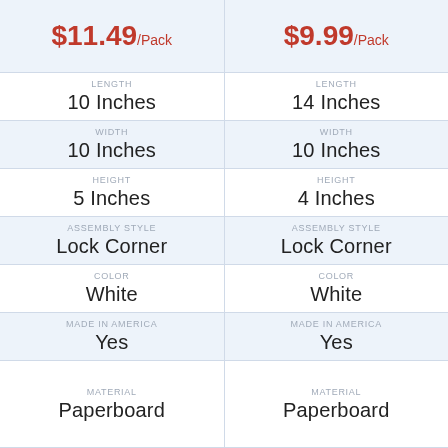| Attribute | Product 1 | Product 2 |
| --- | --- | --- |
| Price | $11.49/Pack | $9.99/Pack |
| Length | 10 Inches | 14 Inches |
| Width | 10 Inches | 10 Inches |
| Height | 5 Inches | 4 Inches |
| Assembly Style | Lock Corner | Lock Corner |
| Color | White | White |
| Made in America | Yes | Yes |
| Material | Paperboard | Paperboard |